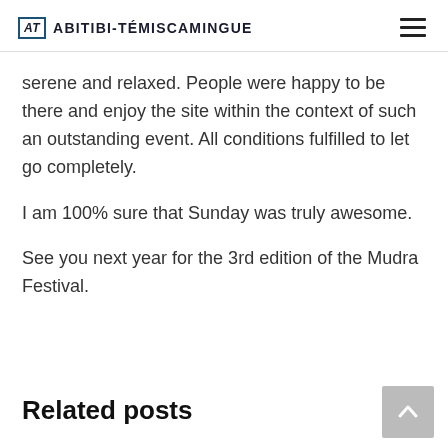AT ABITIBI-TÉMISCAMINGUE
serene and relaxed. People were happy to be there and enjoy the site within the context of such an outstanding event. All conditions fulfilled to let go completely.
I am 100% sure that Sunday was truly awesome.
See you next year for the 3rd edition of the Mudra Festival.
Related posts